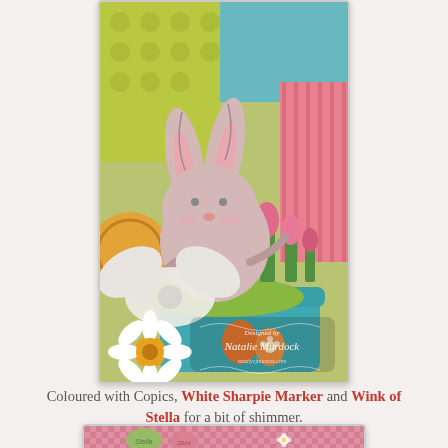[Figure (photo): Easter-themed craft photo showing a bunny illustration holding flowers, with a white daisy decoration, ribbon bow, colorful eggs, felt grass, and a teal basket. Watermark reads 'Designed by Natalie Murdock' with a website URL.]
Coloured with Copics, White Sharpie Marker and Wink of Stella for a bit of shimmer.
[Figure (photo): Bottom portion of another Easter craft photo showing pink gingham background with small decorative elements and a watermark.]